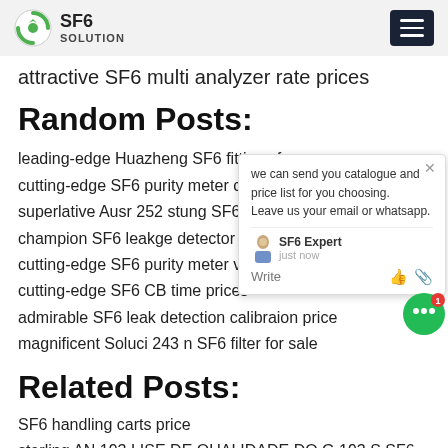SF6 SOLUTION
attractive SF6 multi analyzer rate prices
Random Posts:
leading-edge Huazheng SF6 fittings for
cutting-edge SF6 purity meter cycle pric
superlative Ausr 252 stung SF6 fittings n
champion SF6 leakge detector recovery
cutting-edge SF6 purity meter vacu p
cutting-edge SF6 CB time prices
admirable SF6 leak detection calibraion price
magnificent Soluci 243 n SF6 filter for sale
Related Posts:
SF6 handling carts price
sterling AN 193 LISE DE QUALIDADE DO G 193 S SF6